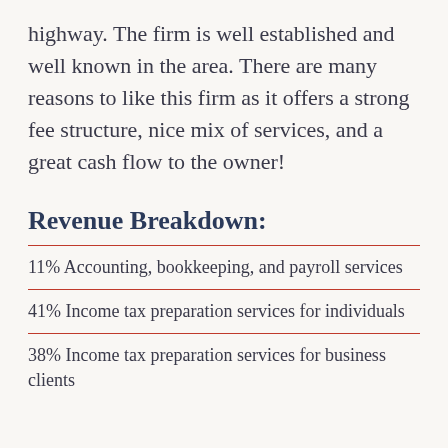highway. The firm is well established and well known in the area. There are many reasons to like this firm as it offers a strong fee structure, nice mix of services, and a great cash flow to the owner!
Revenue Breakdown:
11% Accounting, bookkeeping, and payroll services
41% Income tax preparation services for individuals
38% Income tax preparation services for business clients